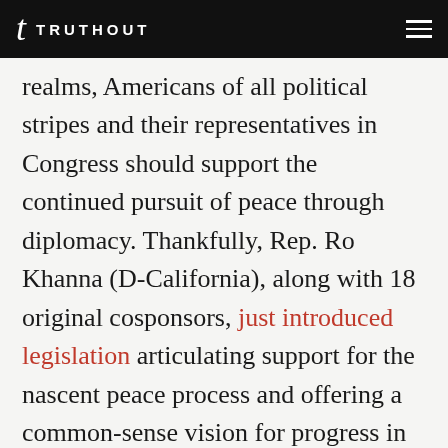TRUTHOUT
realms, Americans of all political stripes and their representatives in Congress should support the continued pursuit of peace through diplomacy. Thankfully, Rep. Ro Khanna (D-California), along with 18 original cosponsors, just introduced legislation articulating support for the nascent peace process and offering a common-sense vision for progress in negotiations. Congress is right to get involved in support of a productive and thoughtful diplomatic process.